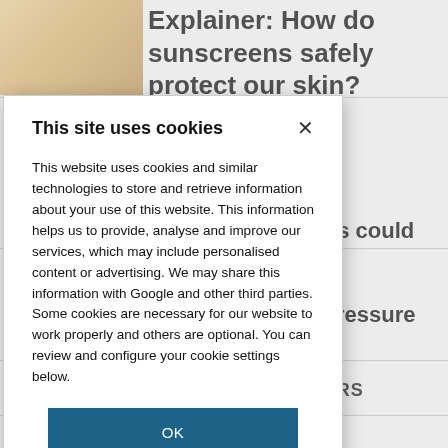[Figure (photo): Photo of a person touching their face, partial view, warm tones]
Explainer: How do sunscreens safely protect our skin?
ain genes could
ntaining by low pressure
TORS
This site uses cookies
This website uses cookies and similar technologies to store and retrieve information about your use of this website. This information helps us to provide, analyse and improve our services, which may include personalised content or advertising. We may share this information with Google and other third parties. Some cookies are necessary for our website to work properly and others are optional. You can review and configure your cookie settings below.
OK
COOKIE SETTINGS